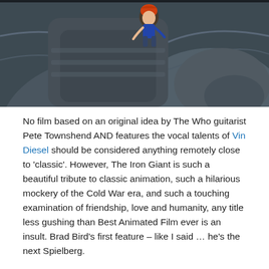[Figure (illustration): Animated illustration from The Iron Giant showing a small boy with red/orange hair sitting on top of a large grey robot/mechanical figure, viewed from above against a dark metallic background.]
No film based on an original idea by The Who guitarist Pete Townshend AND features the vocal talents of Vin Diesel should be considered anything remotely close to 'classic'. However, The Iron Giant is such a beautiful tribute to classic animation, such a hilarious mockery of the Cold War era, and such a touching examination of friendship, love and humanity, any title less gushing than Best Animated Film ever is an insult. Brad Bird's first feature – like I said … he's the next Spielberg.
Over to you! What are your favourite animated films? Which ones do your kid's watch over and over again? What about animated films you adored when you were